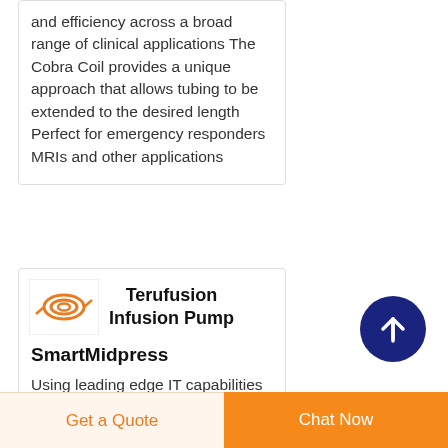and efficiency across a broad range of clinical applications The Cobra Coil provides a unique approach that allows tubing to be extended to the desired length Perfect for emergency responders MRIs and other applications
[Figure (photo): Small product thumbnail image showing orange coil tubing on white background]
Terufusion Infusion Pump
SmartMidpress
Using leading edge IT capabilities SMART Terufusion pumps connect with hospital information and data systems
Get a Quote
Chat Now